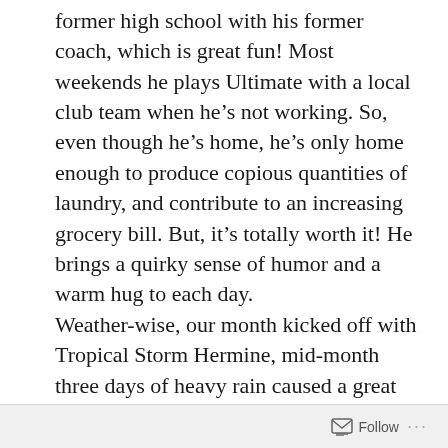former high school with his former coach, which is great fun! Most weekends he plays Ultimate with a local club team when he's not working. So, even though he's home, he's only home enough to produce copious quantities of laundry, and contribute to an increasing grocery bill. But, it's totally worth it! He brings a quirky sense of humor and a warm hug to each day.
Weather-wise, our month kicked off with Tropical Storm Hermine, mid-month three days of heavy rain caused a great deal of flooding in the area, and schools closed due to flooded and impassable streets. At month's end Hurricane Matthew is stirring things up southward, but experts say it will probably go out to sea. In other news, a stomach bug provided just enough time for me to watch the [cut off] on Netflix
Follow ···